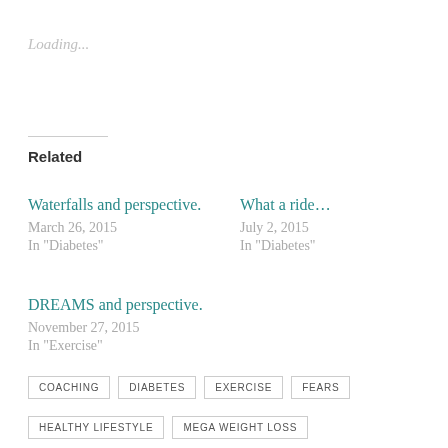Loading...
Related
Waterfalls and perspective.
March 26, 2015
In "Diabetes"
What a ride...
July 2, 2015
In "Diabetes"
DREAMS and perspective.
November 27, 2015
In "Exercise"
COACHING
DIABETES
EXERCISE
FEARS
HEALTHY LIFESTYLE
MEGA WEIGHT LOSS